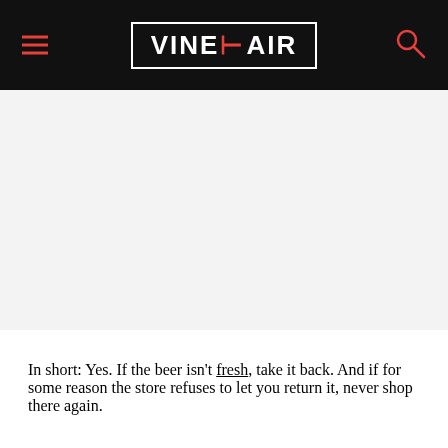VINEPAIR
[Figure (other): Gray advertisement placeholder area]
In short: Yes. If the beer isn't fresh, take it back. And if for some reason the store refuses to let you return it, never shop there again.